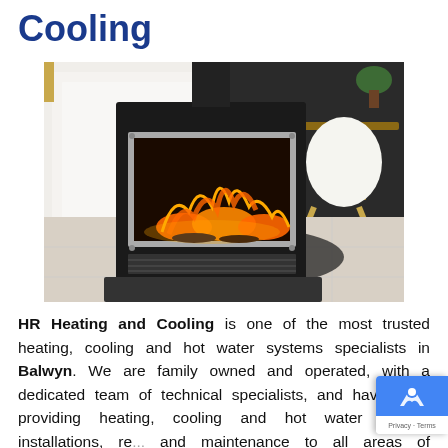Cooling
[Figure (photo): A modern freestanding gas fireplace/heater with a black surround and stainless steel viewing window showing flames, placed on a dark stone hearth in a contemporary living space with a white chair and wooden table in the background.]
HR Heating and Cooling is one of the most trusted heating, cooling and hot water systems specialists in Balwyn. We are family owned and operated, with a dedicated team of technical specialists, and have been providing heating, cooling and hot water system installations, re... and maintenance to all areas of Melbourne... over 10 years. We also perform carbon monoxide